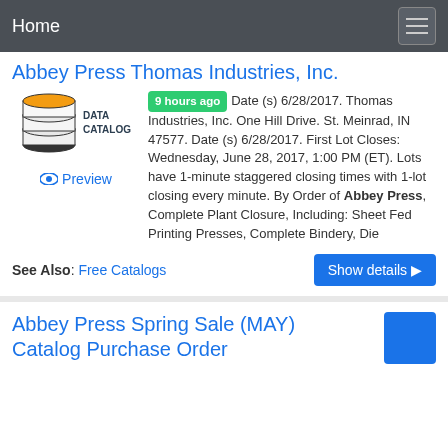Home
Abbey Press Thomas Industries, Inc.
[Figure (logo): Data Catalog logo with stacked database icon and text DATA CATALOG]
9 hours ago  Date (s) 6/28/2017. Thomas Industries, Inc. One Hill Drive. St. Meinrad, IN 47577. Date (s) 6/28/2017. First Lot Closes: Wednesday, June 28, 2017, 1:00 PM (ET). Lots have 1-minute staggered closing times with 1-lot closing every minute. By Order of Abbey Press, Complete Plant Closure, Including: Sheet Fed Printing Presses, Complete Bindery, Die
Preview
See Also: Free Catalogs
Show details
Abbey Press Spring Sale (MAY) Catalog Purchase Order